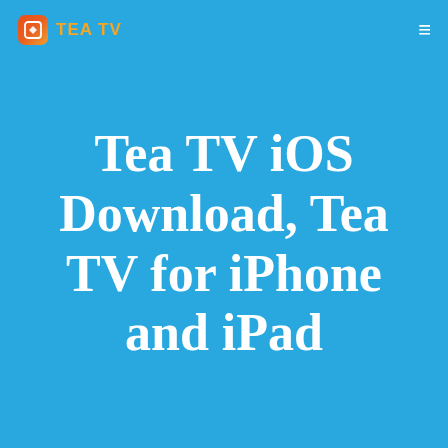TEA TV
Tea TV iOS Download, Tea TV for iPhone and iPad